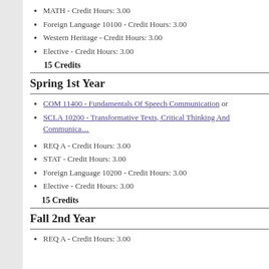MATH  - Credit Hours: 3.00
Foreign Language 10100  - Credit Hours: 3.00
Western Heritage - Credit Hours: 3.00
Elective - Credit Hours: 3.00
15 Credits
Spring 1st Year
COM 11400 - Fundamentals Of Speech Communication or
SCLA 10200 - Transformative Texts, Critical Thinking And Communica…
REQ A - Credit Hours: 3.00
STAT - Credit Hours: 3.00
Foreign Language 10200 - Credit Hours: 3.00
Elective - Credit Hours: 3.00
15 Credits
Fall 2nd Year
REQ A - Credit Hours: 3.00